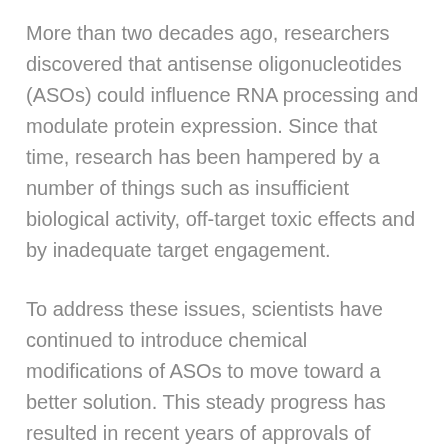More than two decades ago, researchers discovered that antisense oligonucleotides (ASOs) could influence RNA processing and modulate protein expression. Since that time, research has been hampered by a number of things such as insufficient biological activity, off-target toxic effects and by inadequate target engagement.
To address these issues, scientists have continued to introduce chemical modifications of ASOs to move toward a better solution. This steady progress has resulted in recent years of approvals of ASOs for the treatment of spinal muscular atrophy and Duchenne muscular dystrophy, representing landmarks in a field where disease-modifying therapies were virtually non-existent.